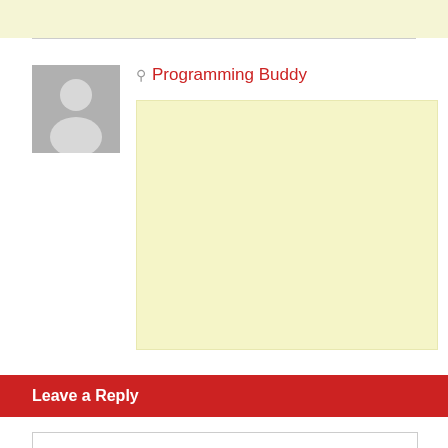Programming Buddy
[Figure (illustration): Gray placeholder avatar silhouette of a person on gray background]
[Figure (other): Light yellow advertisement placeholder box]
Leave a Reply